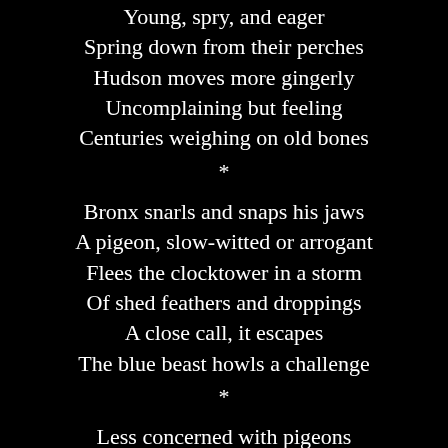Young, spry, and eager
Spring down from their perches
Hudson moves more gingerly
Uncomplaining but feeling
Centuries weighing on old bones
*

Bronx snarls and snaps his jaws
A pigeon, slow-witted or arrogant
Flees the clocktower in a storm
Of shed feathers and droppings
A close call, it escapes
The blue beast howls a challenge
*

Less concerned with pigeons
With his mentor's age and aches
With his clan's exuberance
Or aromas, wonderful though they be
Goliath looks down from on high
At the light-spangled street below
*

Old-fashioned shape and white-over-red
Her car stands out from the standard